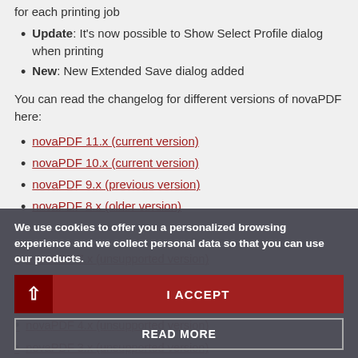Update: It's now possible to Show Select Profile dialog when printing
New: New Extended Save dialog added
You can read the changelog for different versions of novaPDF here:
novaPDF 11.x (current version)
novaPDF 10.x (current version)
novaPDF 9.x (previous version)
novaPDF 8.x (older version)
novaPDF 7.x (unsupported version)
novaPDF 6.x (unsupported version) [THIS]
novaPDF 5.x (unsupported version)
novaPDF 4.x (unsupported version)
novaPDF 3.x (unsupported version)
novaPDF 2.x (unsupported version)
novaPDF 1.x (unsupported version)
We use cookies to offer you a personalized browsing experience and we collect personal data so that you can use our products.
I ACCEPT
READ MORE